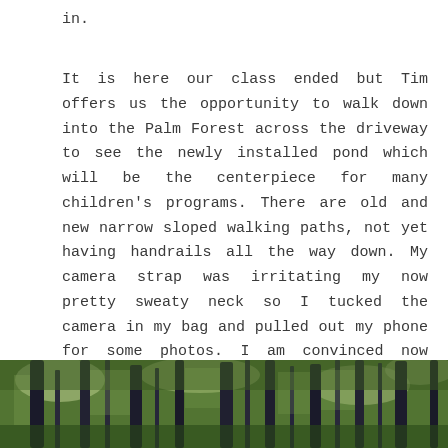in.
It is here our class ended but Tim offers us the opportunity to walk down into the Palm Forest across the driveway to see the newly installed pond which will be the centerpiece for many children's programs. There are old and new narrow sloped walking paths, not yet having handrails all the way down. My camera strap was irritating my now pretty sweaty neck so I tucked the camera in my bag and pulled out my phone for some photos. I am convinced now there must have been a garden fairy on my shoulder giving me that idea or I would not have a single shot of this amazing part of the garden.
[Figure (photo): A photo strip showing tall palm tree trunks in a lush green tropical palm forest, with dappled light filtering through the canopy.]